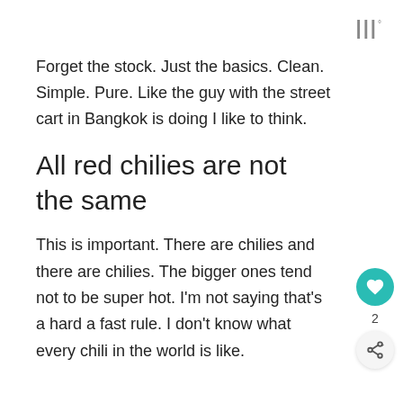|||°
Forget the stock. Just the basics. Clean. Simple. Pure. Like the guy with the street cart in Bangkok is doing I like to think.
All red chilies are not the same
This is important. There are chilies and there are chilies. The bigger ones tend not to be super hot. I'm not saying that's a hard a fast rule. I don't know what every chili in the world is like.